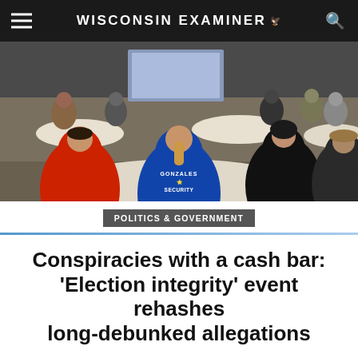WISCONSIN EXAMINER
[Figure (photo): People seated at round tables in a meeting or event room, viewed from behind. A person in a red hoodie and a person in a blue hoodie labeled 'GONZALES SECURITY' are prominent in the foreground. Others sit at tables in the background with a presentation screen visible.]
POLITICS & GOVERNMENT
Conspiracies with a cash bar: 'Election integrity' event rehashes long-debunked allegations
BY: HENRY REDMAN – 7:00 AM
“It’s not political,” Kenosha County Supervisor Brian Thomas said of his